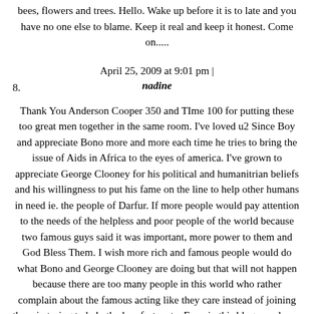bees, flowers and trees. Hello. Wake up before it is to late and you have no one else to blame. Keep it real and keep it honest. Come on.....
April 25, 2009 at 9:01 pm |
8. nadine
Thank You Anderson Cooper 350 and TIme 100 for putting these too great men together in the same room. I've loved u2 Since Boy and appreciate Bono more and more each time he tries to bring the issue of Aids in Africa to the eyes of america. I've grown to appreciate George Clooney for his political and humanitrian beliefs and his willingness to put his fame on the line to help other humans in need ie. the people of Darfur. If more people would pay attention to the needs of the helpless and poor people of the world because two famous guys said it was important, more power to them and God Bless Them. I wish more rich and famous people would do what Bono and George Clooney are doing but that will not happen because there are too many people in this world who rather complain about the famous acting like they care instead of joining them in trying to help the less fortunate. Even in this blog people are criticizing each man for caring, why? Image if you can.